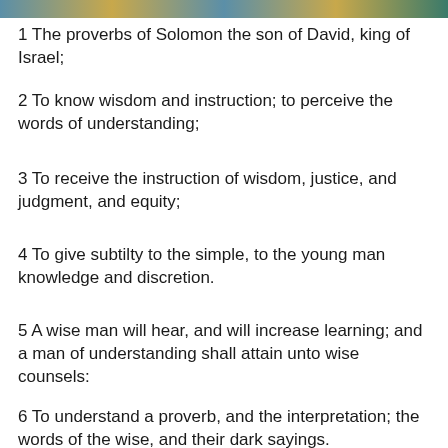[Figure (other): Decorative header bar with teal, gold, and green gradient colors]
1 The proverbs of Solomon the son of David, king of Israel;
2 To know wisdom and instruction; to perceive the words of understanding;
3 To receive the instruction of wisdom, justice, and judgment, and equity;
4 To give subtilty to the simple, to the young man knowledge and discretion.
5 A wise man will hear, and will increase learning; and a man of understanding shall attain unto wise counsels:
6 To understand a proverb, and the interpretation; the words of the wise, and their dark sayings.
7 The fear of the Lord is the beginning of knowledge: but